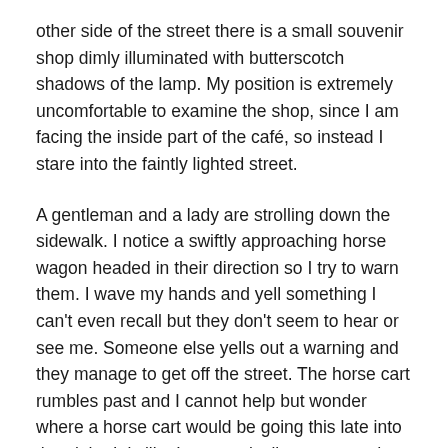other side of the street there is a small souvenir shop dimly illuminated with butterscotch shadows of the lamp. My position is extremely uncomfortable to examine the shop, since I am facing the inside part of the café, so instead I stare into the faintly lighted street.
A gentleman and a lady are strolling down the sidewalk. I notice a swiftly approaching horse wagon headed in their direction so I try to warn them. I wave my hands and yell something I can't even recall but they don't seem to hear or see me. Someone else yells out a warning and they manage to get off the street. The horse cart rumbles past and I cannot help but wonder where a horse cart would be going this late into the night. It is like I am magically transported into the 19th century. No, that is impossible, I tell myself, there is no way. It must be the effect of the